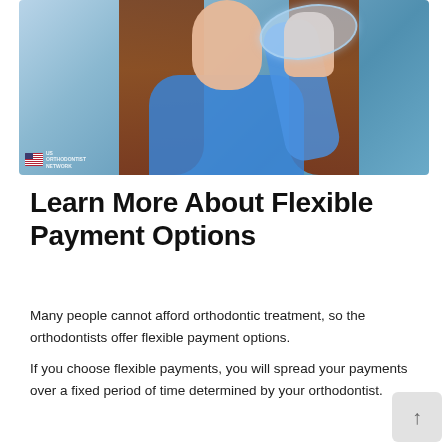[Figure (photo): Young woman with brown hair in blue top holding up a clear dental aligner/retainer against a blurred background. A small US orthodontist watermark logo appears in the bottom-left corner of the image.]
Learn More About Flexible Payment Options
Many people cannot afford orthodontic treatment, so the orthodontists offer flexible payment options.
If you choose flexible payments, you will spread your payments over a fixed period of time determined by your orthodontist.